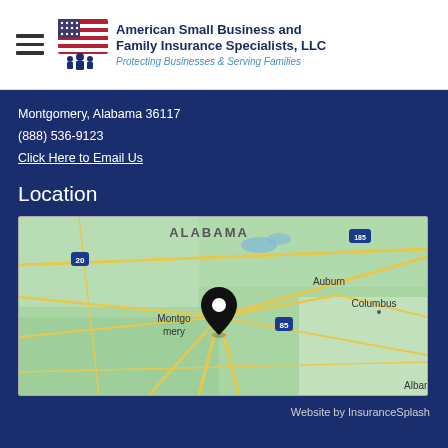American Small Business and Family Insurance Specialists, LLC — Protecting Businesses & Serving Families
Montgomery, Alabama 36117
(888) 536-9123
Click Here to Email Us
Location
[Figure (map): Google Maps view of Alabama showing Montgomery with a location pin, Auburn, Columbus, Albany visible. Interstate 20, 85, 185 labeled.]
Website by InsuranceSplash